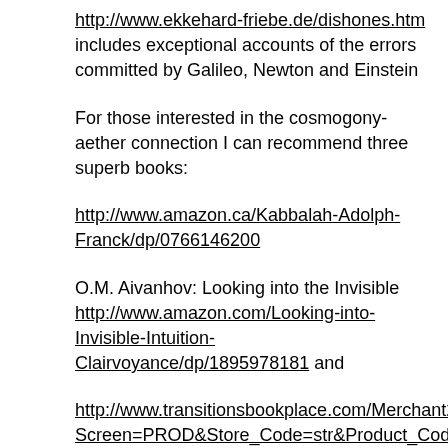http://www.ekkehard-friebe.de/dishones.htm includes exceptional accounts of the errors committed by Galileo, Newton and Einstein
For those interested in the cosmogony-aether connection I can recommend three superb books:
http://www.amazon.ca/Kabbalah-Adolph-Franck/dp/0766146200
O.M. Aivanhov: Looking into the Invisible http://www.amazon.com/Looking-into-Invisible-Intuition-Clairvoyance/dp/1895978181 and
http://www.transitionsbookplace.com/Merchant2/merchant.mvc?Screen=PROD&Store_Code=str&Product_Code=1895978076
Now, let's get to the photograph posted by you...it is important, always, to include the original source of the photograph, just like I have done here, in order not to invite other kinds of comments.